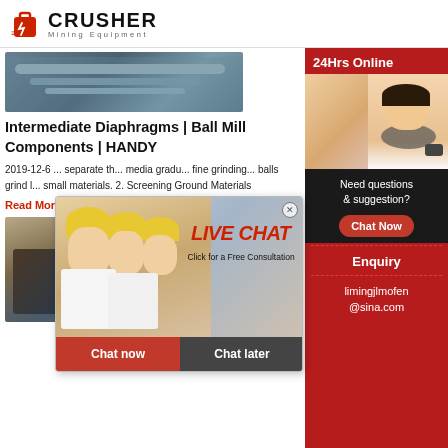CRUSHER Mining Equipment
[Figure (photo): Industrial mining equipment / conveyor system photo]
Intermediate Diaphragms | Ball Mill Components | HANDY
2019-12-6 ... separate th... media gradu... fine grinding... balls grind l... small materials. 2. Screening Ground Materials
Read More
[Figure (photo): Mining site with heavy equipment and machinery]
[Figure (screenshot): Live Chat popup overlay with workers in hard hats. Text: LIVE CHAT, Click for a Free Consultation, Chat now, Chat later]
[Figure (infographic): Right sidebar: 24Hrs Online, customer service agent photo, Need questions & suggestion?, Chat Now button, Enquiry, limingjlmofen@sina.com]